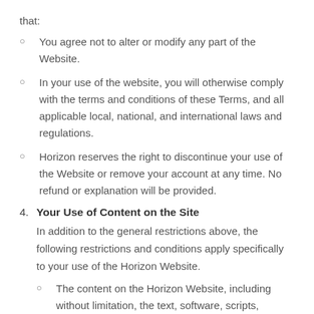that:
You agree not to alter or modify any part of the Website.
In your use of the website, you will otherwise comply with the terms and conditions of these Terms, and all applicable local, national, and international laws and regulations.
Horizon reserves the right to discontinue your use of the Website or remove your account at any time. No refund or explanation will be provided.
4. Your Use of Content on the Site
In addition to the general restrictions above, the following restrictions and conditions apply specifically to your use of the Horizon Website.
The content on the Horizon Website, including without limitation, the text, software, scripts, graphics, photos, sounds, music, videos, interactive